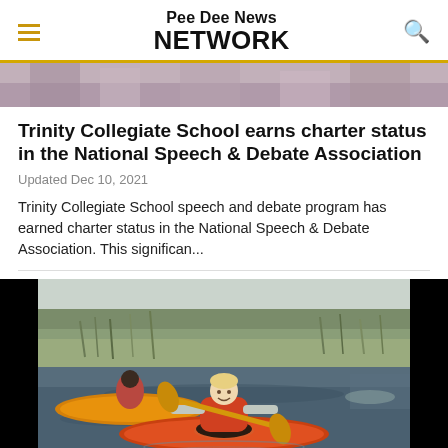Pee Dee News NETWORK
[Figure (photo): Top portion of a photo showing people outdoors, partially cropped]
Trinity Collegiate School earns charter status in the National Speech & Debate Association
Updated Dec 10, 2021
Trinity Collegiate School speech and debate program has earned charter status in the National Speech & Debate Association. This significan...
[Figure (photo): A child in an orange kayak on a river/marsh, holding a paddle, wearing an orange life vest. Other kayakers visible in background with marsh grass.]